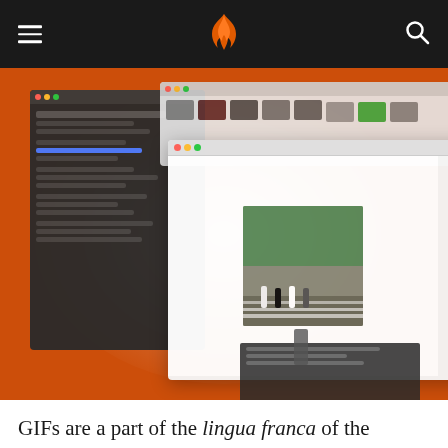[navigation header with logo and menu/search icons]
[Figure (screenshot): Screenshot of a Mac application showing a media browser/GIF manager with dark sidebar, white content area displaying the Abbey Road Beatles album cover image, and a grid of thumbnail images on the right. The background is orange with white radial light effect.]
GIFs are a part of the lingua franca of the